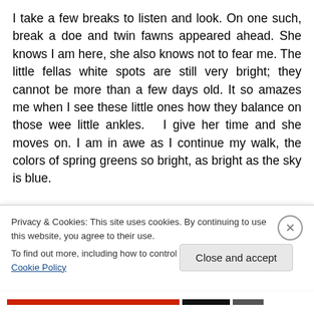I take a few breaks to listen and look. On one such, break a doe and twin fawns appeared ahead. She knows I am here, she also knows not to fear me. The little fellas white spots are still very bright; they cannot be more than a few days old. It so amazes me when I see these little ones how they balance on those wee little ankles.  I give her time and she moves on. I am in awe as I continue my walk, the colors of spring greens so bright, as bright as the sky is blue.
I have picked a glorious day for a walk.  I packed a small
Privacy & Cookies: This site uses cookies. By continuing to use this website, you agree to their use.
To find out more, including how to control cookies, see here: Cookie Policy
Close and accept